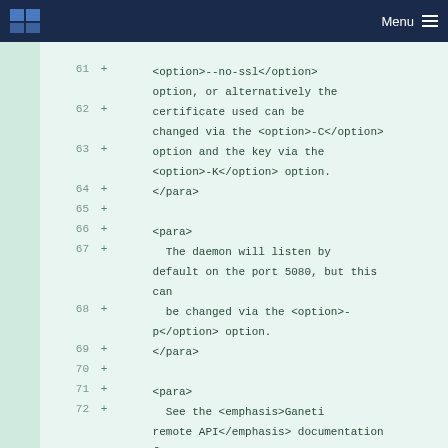Menu
61  +      <option>--no-ssl</option> option, or alternatively the
62  +      certificate used can be changed via the <option>-C</option>
63  +      option and the key via the <option>-K</option> option.
64  +      </para>
65  +
66  +      <para>
67  +        The daemon will listen by default on the port 5080, but this can
68  +      be changed via the <option>-p</option> option.
69  +      </para>
70  +
71  +      <para>
72  +        See the <emphasis>Ganeti remote API</emphasis> documentation for